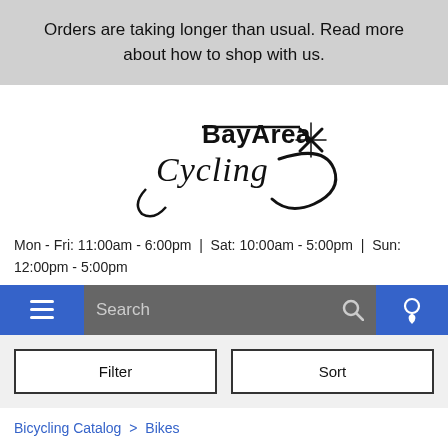Orders are taking longer than usual. Read more about how to shop with us.
[Figure (logo): Bay Area Cycling logo with stylized script text]
Mon - Fri: 11:00am - 6:00pm | Sat: 10:00am - 5:00pm | Sun: 12:00pm - 5:00pm
Search
Filter
Sort
Bicycling Catalog > Bikes
Hybrid